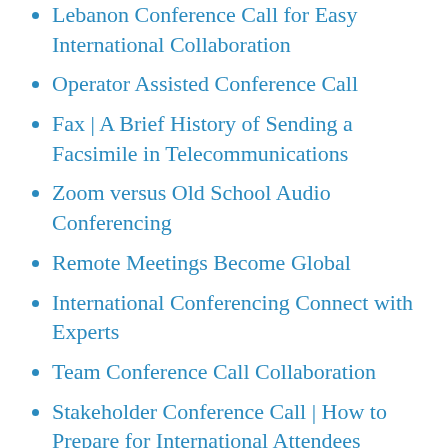Lebanon Conference Call for Easy International Collaboration
Operator Assisted Conference Call
Fax | A Brief History of Sending a Facsimile in Telecommunications
Zoom versus Old School Audio Conferencing
Remote Meetings Become Global
International Conferencing Connect with Experts
Team Conference Call Collaboration
Stakeholder Conference Call | How to Prepare for International Attendees
Multi Country Conference Call Simplified
Global Audio Conference Calls in 30 Minutes or Less
Smartphone International Conference Calls
US Conference Call from Europe